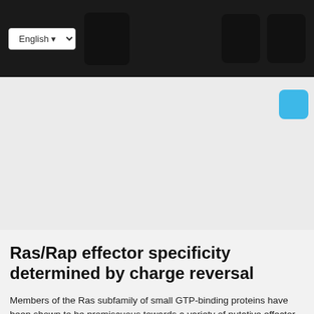[Figure (screenshot): Navigation bar with English language dropdown, dark square logo/button, two dark icon buttons on the right, and a cyan/blue button]
Ras/Rap effector specificity determined by charge reversal
Members of the Ras subfamily of small GTP-binding proteins have been shown to be promiscuous towards a variety of putative effector molecules such as the protein kinase c-Raf and the Ral-specific guanine nucleotide exchange factor (Ral-GEF). To address the question of specificity of interactions we... Full description